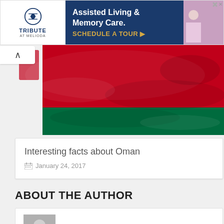[Figure (infographic): Advertisement banner for Tribute at Meliodd Assisted Living and Memory Care with a Schedule a Tour call-to-action button]
[Figure (photo): Oman flag with red and green colors, silky textile appearance]
Interesting facts about Oman
January 24, 2017
ABOUT THE AUTHOR
Admin